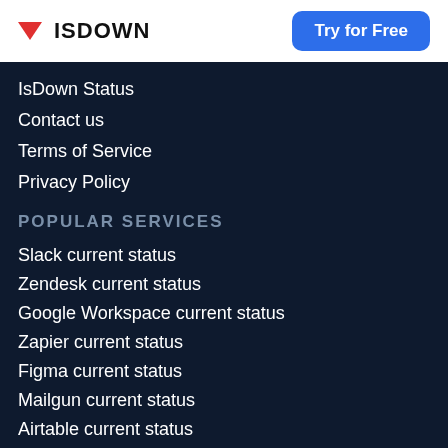ISDOWN | Try for Free
IsDown Status
Contact us
Terms of Service
Privacy Policy
POPULAR SERVICES
Slack current status
Zendesk current status
Google Workspace current status
Zapier current status
Figma current status
Mailgun current status
Airtable current status
Google Cloud current status
GitLab current status
Stripe current status